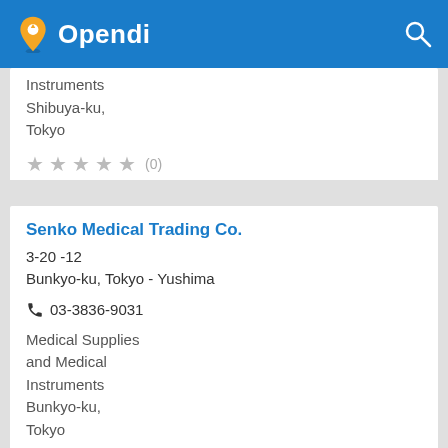Opendi
Instruments
Shibuya-ku,
Tokyo
★ ★ ★ ★ ★ (0)
Senko Medical Trading Co.
3-20 -12
Bunkyo-ku, Tokyo - Yushima
03-3836-9031
Medical Supplies and Medical Instruments
Bunkyo-ku,
Tokyo
★ ★ ★ ★ ★ (0)
Senshu Ika Kikai-ten